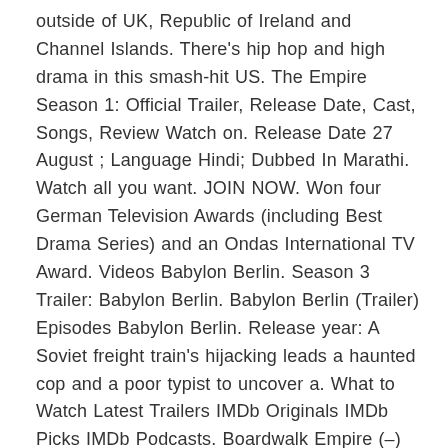outside of UK, Republic of Ireland and Channel Islands. There's hip hop and high drama in this smash-hit US. The Empire Season 1: Official Trailer, Release Date, Cast, Songs, Review Watch on. Release Date 27 August ; Language Hindi; Dubbed In Marathi. Watch all you want. JOIN NOW. Won four German Television Awards (including Best Drama Series) and an Ondas International TV Award. Videos Babylon Berlin. Season 3 Trailer: Babylon Berlin. Babylon Berlin (Trailer) Episodes Babylon Berlin. Release year: A Soviet freight train's hijacking leads a haunted cop and a poor typist to uncover a. What to Watch Latest Trailers IMDb Originals IMDb Picks IMDb Podcasts. Boardwalk Empire (–) Episode List. Season: OR. Year: Season 2. S2, Ep1. 25 Sep. «Season 1 | Season 2 | Season 3» See also. TV Schedule. Getting Started | Contributor Zone. Great Documentary series especially episode 1 on Caligula. Amanda Ruggeri is